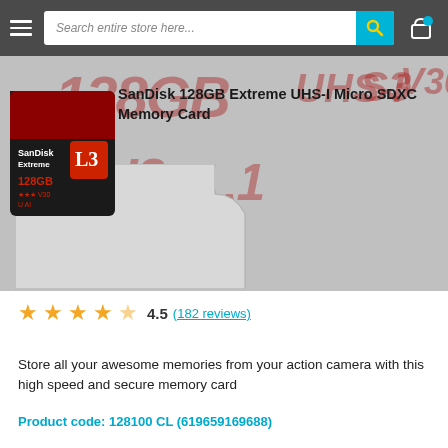Search entire store here...
[Figure (photo): SanDisk 128GB Extreme UHS-I Micro SDXC Memory Card product image showing the memory card and SD card adapter, with red watermark text overlay reading 128GB, UHS-I, S3, V30, U3, A1]
SanDisk 128GB Extreme UHS-I Micro SDXC Memory Card
4.5  (182 reviews)
Store all your awesome memories from your action camera with this high speed and secure memory card
Product code: 128100 CL (619659169688)